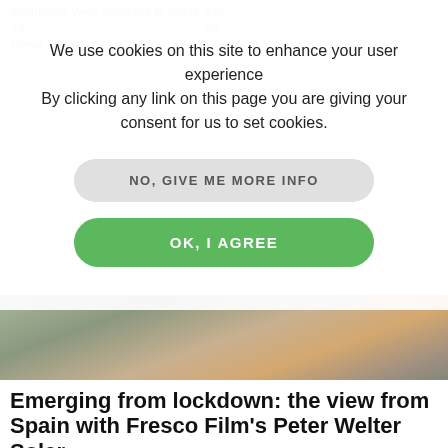We use cookies on this site to enhance your user experience
By clicking any link on this page you are giving your consent for us to set cookies.
NO, GIVE ME MORE INFO
OK, I AGREE
[Figure (photo): Close-up portrait of a middle-aged man with grey beard, shown from shoulders up, outdoors with greenery in background]
Emerging from lockdown: the view from Spain with Fresco Film's Peter Welter Soler
Written by The Location Guide on May 26, 2020